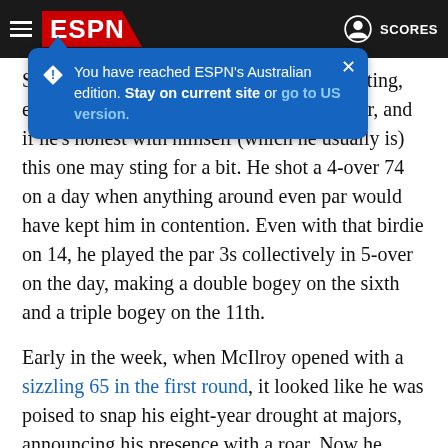ESPN navigation bar with hamburger menu, ESPN logo, profile icon and SCORES
You have reached ESPN's Australian edition. Stay on current site or go to US version.
Saturday marked another maddening, deflating, exasperating round from McIlroy at a major, and if he's honest with himself (which he usually is) this one may sting for a bit. He shot a 4-over 74 on a day when anything around even par would have kept him in contention. Even with that birdie on 14, he played the par 3s collectively in 5-over on the day, making a double bogey on the sixth and a triple bogey on the 11th.
Early in the week, when McIlroy opened with a sizzling 65 in the first round, it looked like he was poised to snap his eight-year drought at majors, announcing his presence with a roar. Now he seems like he has slunk back into the wilderness, a once-vicious lion who has forgotten how to hunt. When he bogeyed the 18th hole to slip back to even par for the